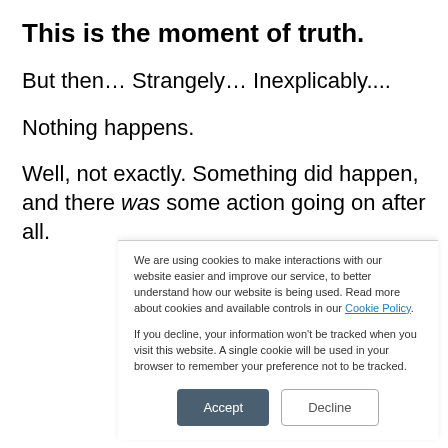This is the moment of truth.
But then… Strangely… Inexplicably....
Nothing happens.
Well, not exactly. Something did happen, and there was some action going on after all.
We are using cookies to make interactions with our website easier and improve our service, to better understand how our website is being used. Read more about cookies and available controls in our Cookie Policy.
If you decline, your information won't be tracked when you visit this website. A single cookie will be used in your browser to remember your preference not to be tracked.